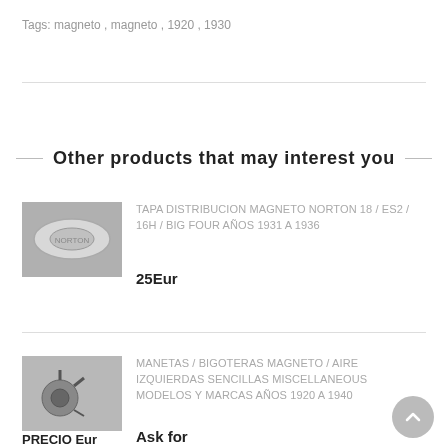Tags: magneto, magneto, 1920, 1930
Other products that may interest you
TAPA DISTRIBUCION MAGNETO NORTON 18 / ES2 / 16H / BIG FOUR AÑOS 1931 A 1936
25Eur
MANETAS / BIGOTERAS MAGNETO / AIRE IZQUIERDAS SENCILLAS MISCELLANEOUS MODELOS Y MARCAS AÑOS 1920 A 1940
Ask for price
PRECIO Eur